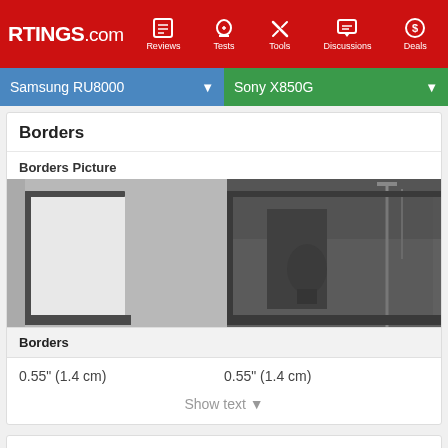RTINGS.com | Reviews | Tests | Tools | Discussions | Deals
Samsung RU8000 | Sony X850G
Borders
Borders Picture
[Figure (photo): Two-panel photo showing TV borders side by side: left panel shows Samsung RU8000 TV border (gray/silver bezel), right panel shows Sony X850G TV border with office/room background visible.]
Borders
0.55" (1.4 cm)
0.55" (1.4 cm)
Show text ▾
Thickness